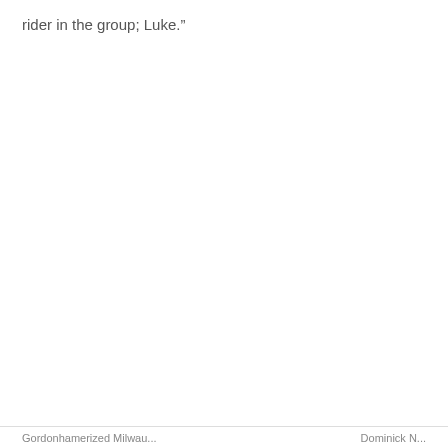rider in the group; Luke.”
Gordonhamerized Milwau...     Dominick N...